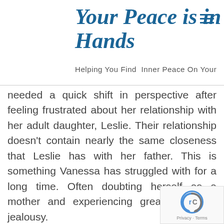Your Peace is in Your Hands — Helping You Find Inner Peace On Your
needed a quick shift in perspective after feeling frustrated about her relationship with her adult daughter, Leslie. Their relationship doesn't contain nearly the same closeness that Leslie has with her father. This is something Vanessa has struggled with for a long time. Often doubting herself as a mother and experiencing great pangs of jealousy.
These feelings create stories in her mind that are big enough to write the next War and Peace novel. So she reached out to see if I could help her squelch the stories and present a new perspective to release her emotional